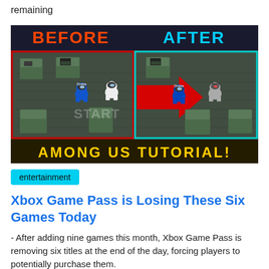remaining
[Figure (screenshot): An Among Us tutorial thumbnail showing BEFORE and AFTER panels. The BEFORE side (red border) shows a blue crewmate (Drake) and a white crewmate (Andy) near storage boxes. The AFTER side (cyan border) shows a blue crewmate (Drake) and a silver/robot-like character (Andy) in the same scene. A large red arrow points from left to right. The bottom reads 'AMONG US TUTORIAL' in yellow text on a dark background.]
entertainment
Xbox Game Pass is Losing These Six Games Today
- After adding nine games this month, Xbox Game Pass is removing six titles at the end of the day, forcing players to potentially purchase them.